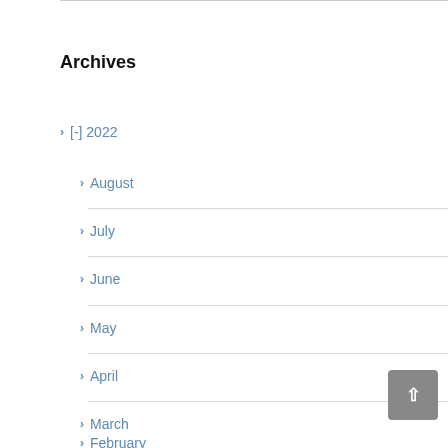Archives
[-] 2022
August
July
June
May
April
March
February